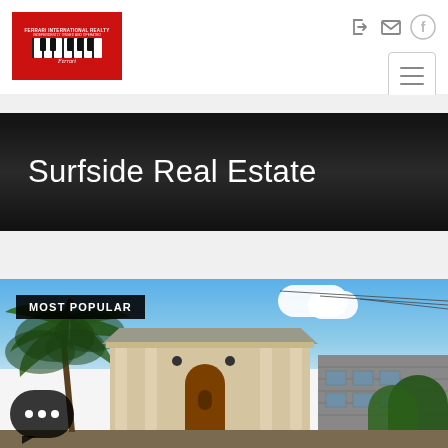[Figure (logo): Ferrari International Realty logo — red background with piano keys graphic and italic script text]
[Figure (infographic): Navigation icons: login arrow, envelope/email, Facebook circle icon, and hamburger menu button]
Surfside Real Estate
[Figure (photo): Exterior photo of a residential property with palm trees, classical columns, wood front door with oval window, and adjacent building. Tagged MOST POPULAR. Chat bubble widget in bottom-left corner.]
MOST POPULAR